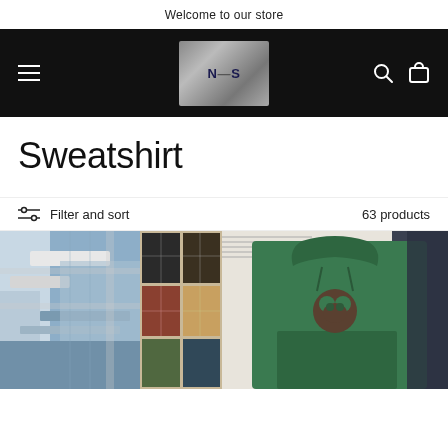Welcome to our store
[Figure (screenshot): Black navigation bar with hamburger menu on left, store logo (NCS) in center on metallic square background, search and cart icons on right]
Sweatshirt
Filter and sort   63 products
[Figure (photo): Two product photos: left shows a blue/white sherpa plaid jacket worn by a person, center shows multiple color variants of a plaid/checkered scarf; right shows a green hoodie with a bear graphic patch lying flat on a surface]